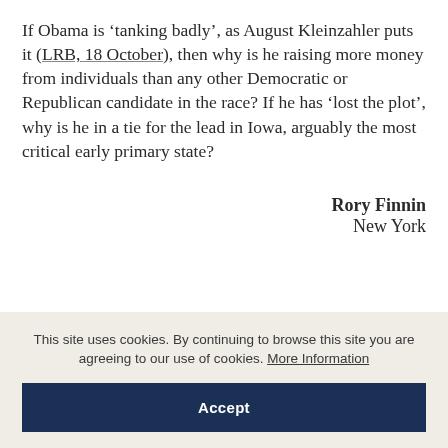If Obama is 'tanking badly', as August Kleinzahler puts it (LRB, 18 October), then why is he raising more money from individuals than any other Democratic or Republican candidate in the race? If he has 'lost the plot', why is he in a tie for the lead in Iowa, arguably the most critical early primary state?
Rory Finnin
New York
This site uses cookies. By continuing to browse this site you are agreeing to our use of cookies. More Information
Accept